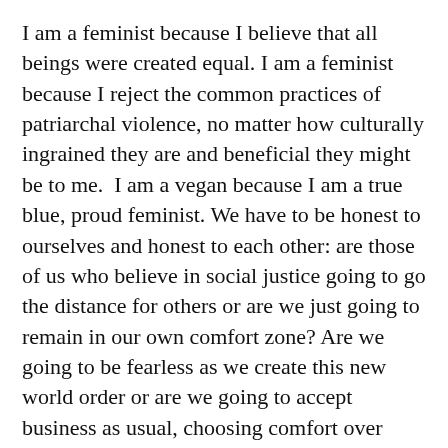I am a feminist because I believe that all beings were created equal. I am a feminist because I reject the common practices of patriarchal violence, no matter how culturally ingrained they are and beneficial they might be to me.  I am a vegan because I am a true blue, proud feminist. We have to be honest to ourselves and honest to each other: are those of us who believe in social justice going to go the distance for others or are we just going to remain in our own comfort zone? Are we going to be fearless as we create this new world order or are we going to accept business as usual, choosing comfort over challenging ourselves to be true champions for sovereignty of the body and spirit?
Despite how disappointed I have felt by other feminists over the years, I am still one in my heart and soul. This won’t ever change. I am just ready for other feminists to step up to the plate and take the animals off of it. We